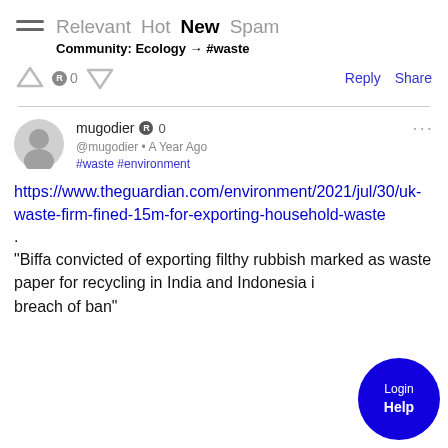Relevant Hot New Spam | Community: Ecology → #waste
R0 | Reply Share
mugodier R0 @mugodier • A Year Ago #waste #environment
https://www.theguardian.com/environment/2021/jul/30/uk-waste-firm-fined-15m-for-exporting-household-waste
"Biffa convicted of exporting filthy rubbish marked as waste paper for recycling in India and Indonesia in breach of ban"
[Figure (other): Login/Help circular button overlay in bottom right corner]